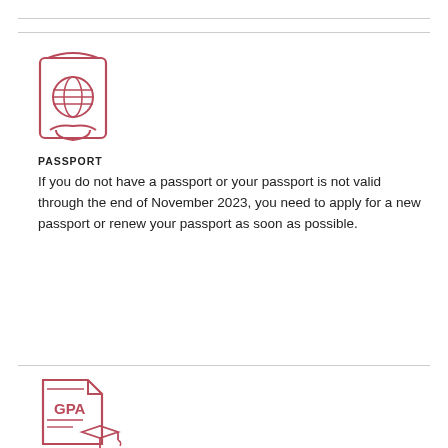[Figure (illustration): Red outline icon of a passport booklet with a globe symbol on the cover]
PASSPORT
If you do not have a passport or your passport is not valid through the end of November 2023, you need to apply for a new passport or renew your passport as soon as possible.
[Figure (illustration): Red outline icon of a GPA transcript document with a graduation cap]